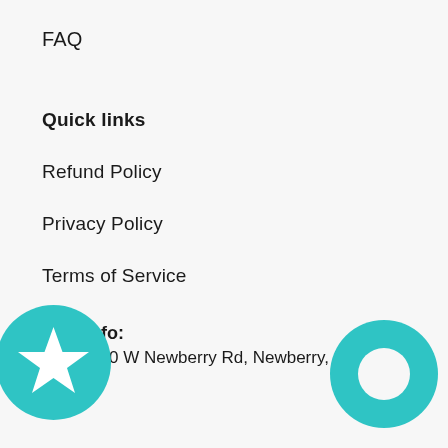FAQ
Quick links
Refund Policy
Privacy Policy
Terms of Service
Shop Info:
ss: 17010 W Newberry Rd, Newberry, F
32069